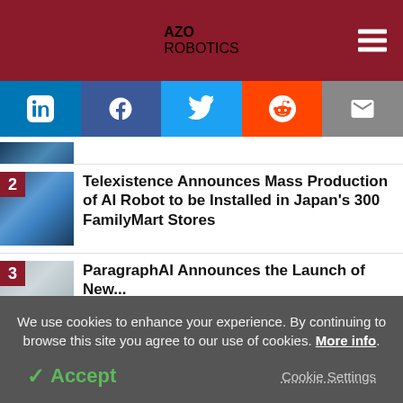AZO ROBOTICS
[Figure (screenshot): Social media share buttons: LinkedIn, Facebook, Twitter, Reddit, Email]
[Figure (photo): Article thumbnail 2: industrial robots welding with sparks]
Telexistence Announces Mass Production of AI Robot to be Installed in Japan's 300 FamilyMart Stores
[Figure (photo): Article thumbnail 3: close-up industrial/robotic machinery]
ParagraphAI Announces the Launch of New...
We use cookies to enhance your experience. By continuing to browse this site you agree to our use of cookies. More info.
Accept   Cookie Settings